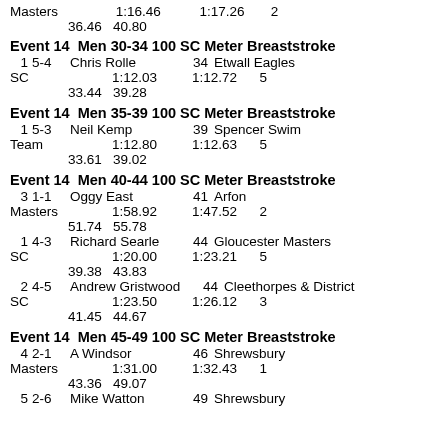Masters   1:16.46   1:17.26   2
36.46   40.80
Event 14  Men 30-34 100 SC Meter Breaststroke
1  5-4 Chris Rolle   34  Etwall Eagles
SC   1:12.03   1:12.72   5
33.44   39.28
Event 14  Men 35-39 100 SC Meter Breaststroke
1  5-3 Neil Kemp   39  Spencer Swim Team
1:12.80   1:12.63   5
33.61   39.02
Event 14  Men 40-44 100 SC Meter Breaststroke
3  1-1 Oggy East   41  Arfon Masters
1:58.92   1:47.52   2
51.74   55.78
1  4-3 Richard Searle   44  Gloucester Masters
SC   1:20.00   1:23.21   5
39.38   43.83
2  4-5 Andrew Gristwood   44  Cleethorpes & District
SC   1:23.50   1:26.12   3
41.45   44.67
Event 14  Men 45-49 100 SC Meter Breaststroke
4  2-1 A Windsor   46  Shrewsbury Masters
1:31.00   1:32.43   1
43.36   49.07
5  2-6 Mike Watton   49  Shrewsbury